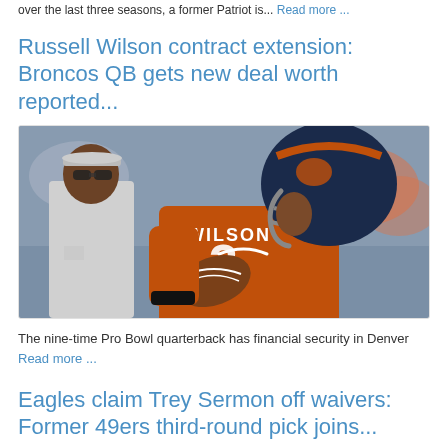over the last three seasons, a former Patriot is... Read more ...
Russell Wilson contract extension: Broncos QB gets new deal worth reported...
[Figure (photo): Russell Wilson, Denver Broncos quarterback wearing orange #3 jersey and helmet, holding a football, with a man in white shirt and sunglasses standing behind him]
The nine-time Pro Bowl quarterback has financial security in Denver Read more ...
Eagles claim Trey Sermon off waivers: Former 49ers third-round pick joins...